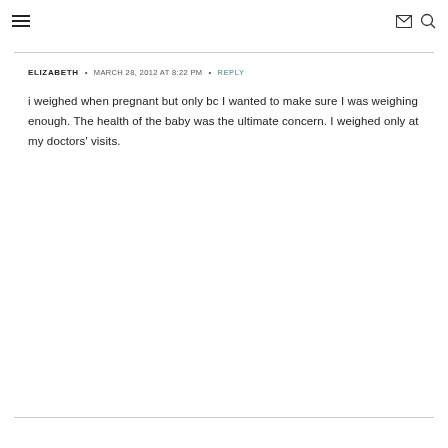☰  ✉  🔍
ELIZABETH  •  MARCH 28, 2012 AT 8:22 PM  •  REPLY
i weighed when pregnant but only bc I wanted to make sure I was weighing enough. The health of the baby was the ultimate concern. I weighed only at my doctors' visits.